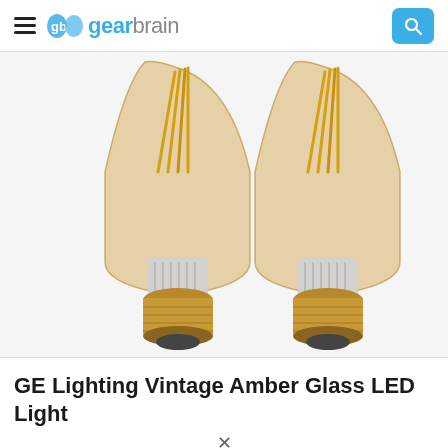gearbrain
[Figure (photo): Two vintage-style Edison LED filament light bulbs with amber glass and gold screw bases, shown side by side on a white background]
GE Lighting Vintage Amber Glass LED Light